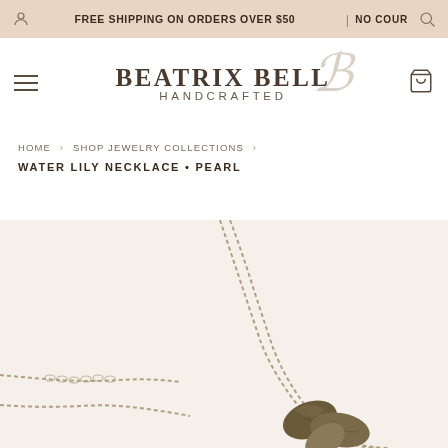FREE SHIPPING ON ORDERS OVER $50 | NO COUPON
[Figure (logo): Beatrix Bell Handcrafted logo with decorative script B]
HOME › SHOP JEWELRY COLLECTIONS ›
WATER LILY NECKLACE • PEARL
[Figure (photo): Close-up product photo of a water lily necklace with pearl, showing gold chain and leaf-shaped pendant against a cream background]